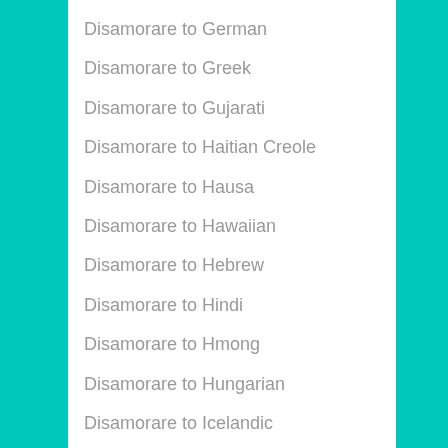Disamorare to German
Disamorare to Greek
Disamorare to Gujarati
Disamorare to Haitian Creole
Disamorare to Hausa
Disamorare to Hawaiian
Disamorare to Hebrew
Disamorare to Hindi
Disamorare to Hmong
Disamorare to Hungarian
Disamorare to Icelandic
Disamorare to Igbo
Disamorare to Indonesian
Disamorare to Irish